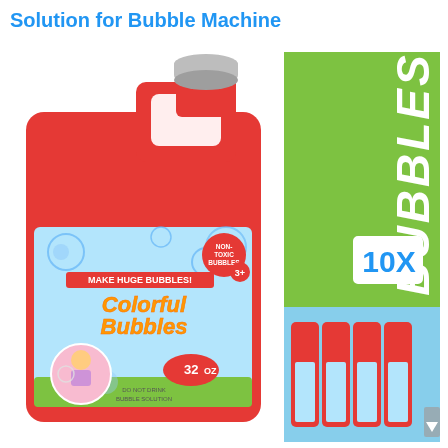Solution for Bubble Machine
[Figure (photo): Red 32 oz 'Colorful Bubbles' bubble solution jug with label showing bubbles, a child blowing bubbles, and text 'MAKE HUGE BUBBLES! Non-Toxic Bubbles 3+'. Next to it is a green panel with 'BUBBLES Up To 2.5 Gallon 10X' text and a photo of multiple red bubble solution bottles.]